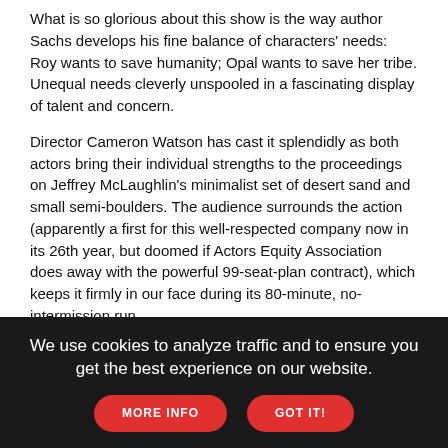What is so glorious about this show is the way author Sachs develops his fine balance of characters' needs: Roy wants to save humanity; Opal wants to save her tribe. Unequal needs cleverly unspooled in a fascinating display of talent and concern.
Director Cameron Watson has cast it splendidly as both actors bring their individual strengths to the proceedings on Jeffrey McLaughlin's minimalist set of desert sand and small semi-boulders. The audience surrounds the action (apparently a first for this well-respected company now in its 26th year, but doomed if Actors Equity Association does away with the powerful 99-seat-plan contract), which keeps it firmly in our face during its 80-minute, no-intermission run.
[Figure (infographic): Advertisement banner: Chevrolet and LGBTO Nation - Authentic Voices of Pride, featuring a performer with big hair on left, Chevrolet bowtie logo in center, rainbow sound wave bars, and LGBTO Nation Authentic Voices of Pride text on right, all on dark background.]
Tichnell and Frances pour out Roy and Opal's emotional and sexual needs, making their moments together electric and sorrowful. He
We use cookies to analyze traffic and to ensure you get the best experience on our website.
MORE INFO
GOT IT!